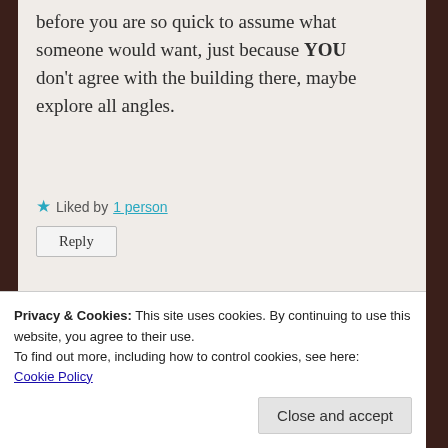before you are so quick to assume what someone would want, just because YOU don't agree with the building there, maybe explore all angles.
★ Liked by 1 person
Reply
[Figure (photo): User avatar photo for cyndilenz]
cyndilenz says: January 6, 2016 at 12:58 am
The issue is not the growth.
Privacy & Cookies: This site uses cookies. By continuing to use this website, you agree to their use.
To find out more, including how to control cookies, see here: Cookie Policy
Close and accept